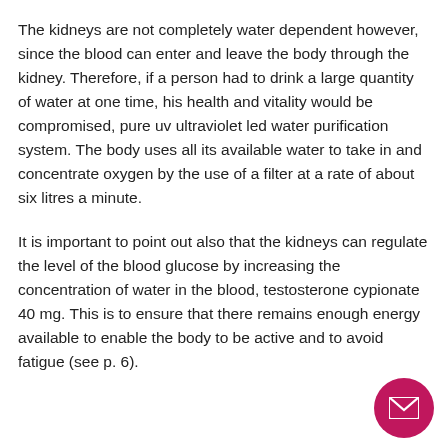The kidneys are not completely water dependent however, since the blood can enter and leave the body through the kidney. Therefore, if a person had to drink a large quantity of water at one time, his health and vitality would be compromised, pure uv ultraviolet led water purification system. The body uses all its available water to take in and concentrate oxygen by the use of a filter at a rate of about six litres a minute.
It is important to point out also that the kidneys can regulate the level of the blood glucose by increasing the concentration of water in the blood, testosterone cypionate 40 mg. This is to ensure that there remains enough energy available to enable the body to be active and to avoid fatigue (see p. 6).